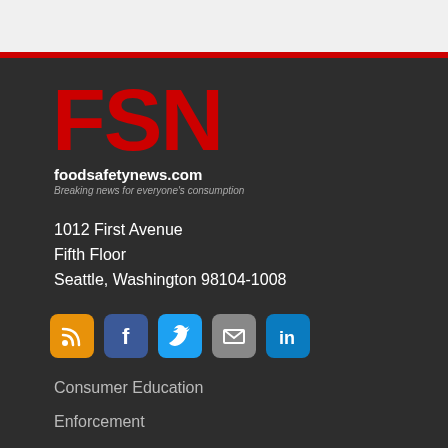[Figure (logo): FSN Food Safety News logo — large red bold letters FSN on dark background]
foodsafetynews.com
Breaking news for everyone's consumption
1012 First Avenue
Fifth Floor
Seattle, Washington 98104-1008
[Figure (infographic): Row of five social media icon buttons: RSS (orange), Facebook (dark blue), Twitter (light blue), Email (grey), LinkedIn (blue)]
Consumer Education
Enforcement